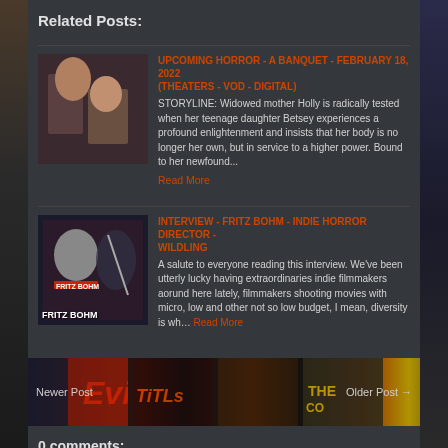Related Posts:
UPCOMING HORROR - A BANQUET - FEBRUARY 18, 2022 (THEATERS - VOD - DIGITAL)
STORYLINE: Widowed mother Holly is radically tested when her teenage daughter Betsey experiences a profound enlightenment and insists that her body is no longer her own, but in service to a higher power. Bound to her newfound...
Read More
INTERVIEW - FRITZ BOHM - INDIE HORROR DIRECTOR - WILDLING
A salute to everyone reading this interview. We've been utterly lucky having extraordinaries indie filmmakers aorund here lately, filmmakers shooting movies with micro, low and other not so low budget, I mean, diversity is wh... Read More
[Figure (screenshot): Navigation banner with movie poster collage background showing horror film posters including Evil Dead; 'Newer Post' on left and 'Older Post →' on right]
0 comments:
Post a Comment
To leave a comment, click the button below to sign in